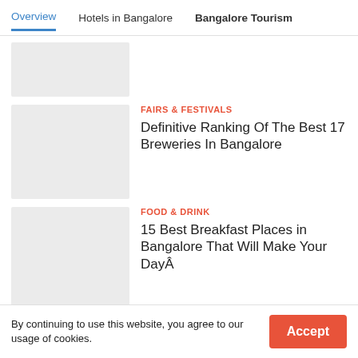Overview | Hotels in Bangalore | Bangalore Tourism
[Figure (other): Partially visible article image placeholder (grey rectangle, cropped)]
FAIRS & FESTIVALS
Definitive Ranking Of The Best 17 Breweries In Bangalore
[Figure (photo): Article image placeholder (grey rectangle)]
FOOD & DRINK
15 Best Breakfast Places in Bangalore That Will Make Your DayÂ
[Figure (photo): Article image placeholder (grey rectangle)]
Similar Places
By continuing to use this website, you agree to our usage of cookies.
Accept